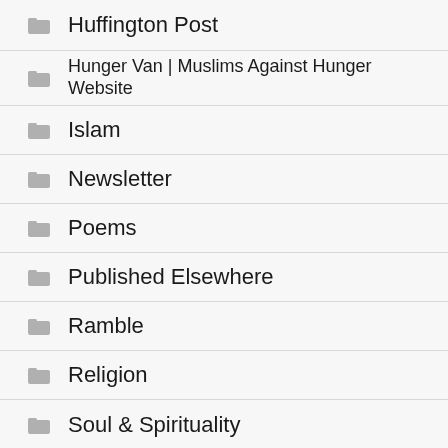Huffington Post
Hunger Van | Muslims Against Hunger Website
Islam
Newsletter
Poems
Published Elsewhere
Ramble
Religion
Soul & Spirituality
Studies in Arabic & Islam (partial, cut off)